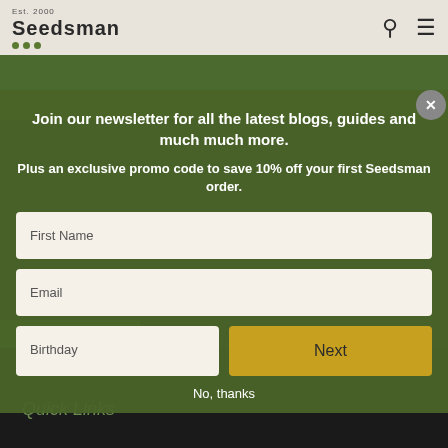Est. 2000 | Seedsman
Join our newsletter for all the latest blogs, guides and much much more.

Plus an exclusive promo code to save 10% off your first Seedsman order.
First Name
Email
Birthday
Next
No, thanks
Quick Links